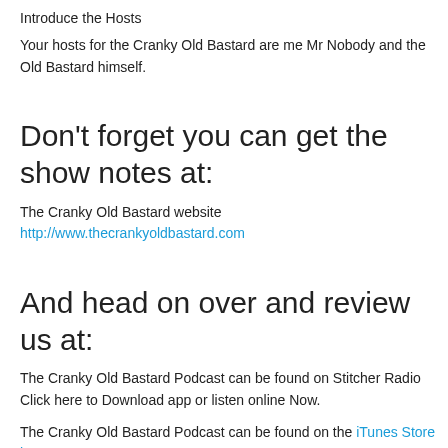Introduce the Hosts
Your hosts for the Cranky Old Bastard are me Mr Nobody and the Old Bastard himself.
Don't forget you can get the show notes at:
The Cranky Old Bastard website http://www.thecrankyoldbastard.com
And head on over and review us at:
The Cranky Old Bastard Podcast can be found on Stitcher Radio Click here to Download app or listen online Now.
The Cranky Old Bastard Podcast can be found on the iTunes Store here.
Welcome to the new Cranky Old Bastard podcast, this show is taking a